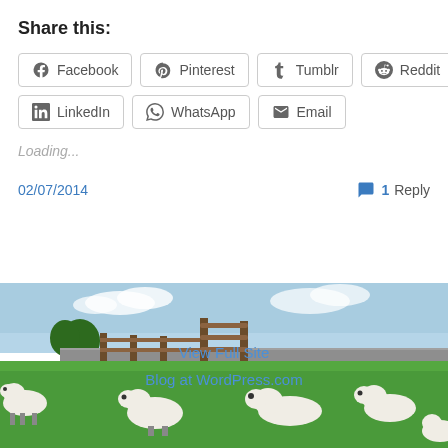Share this:
Facebook
Pinterest
Tumblr
Reddit
Twitter
LinkedIn
WhatsApp
Email
Loading...
02/07/2014
1 Reply
[Figure (photo): Sheep resting on a green field with a wooden gate and stone wall in the background]
View Full Site
Blog at WordPress.com